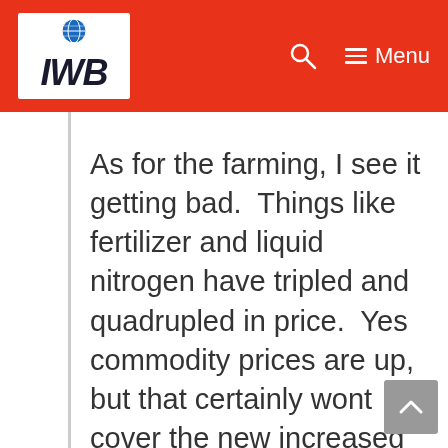IWB — Menu
As for the farming, I see it getting bad.  Things like fertilizer and liquid nitrogen have tripled and quadrupled in price.  Yes commodity prices are up, but that certainly wont cover the new increased input costs.  We are in NC, so while certainly not like the midwest, we still grow grain,